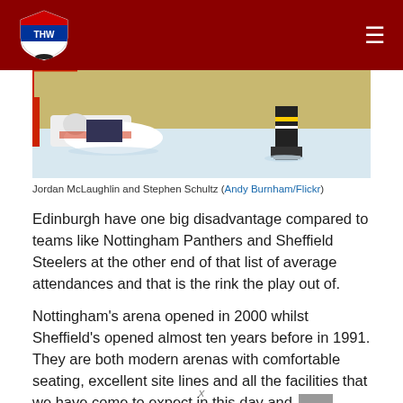THW (The Hockey Writers) - header navigation bar
[Figure (photo): Ice hockey goalie sprawling on ice with another player visible at right, photographed from behind the goal]
Jordan McLaughlin and Stephen Schultz (Andy Burnham/Flickr)
Edinburgh have one big disadvantage compared to teams like Nottingham Panthers and Sheffield Steelers at the other end of that list of average attendances and that is the rink the play out of.
Nottingham’s arena opened in 2000 whilst Sheffield’s opened almost ten years before in 1991. They are both modern arenas with comfortable seating, excellent site lines and all the facilities that we have come to expect in this day and age.
x